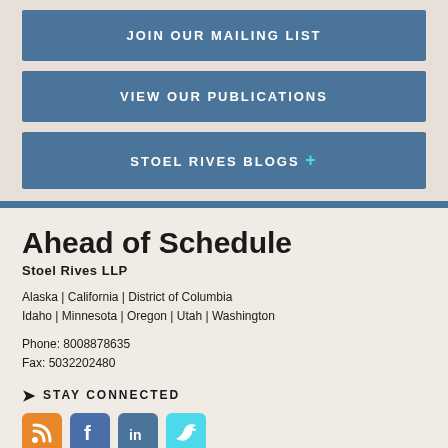JOIN OUR MAILING LIST
VIEW OUR PUBLICATIONS
STOEL RIVES BLOGS +
Ahead of Schedule
Stoel Rives LLP
Alaska | California | District of Columbia Idaho | Minnesota | Oregon | Utah | Washington
Phone: 8008878635
Fax: 5032202480
STAY CONNECTED
[Figure (infographic): Social media icons: RSS (orange), Facebook (blue), LinkedIn (blue), Twitter (cyan)]
DISCLAIMER | PRIVACY POLICY